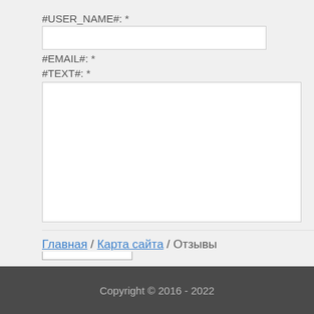#USER_NAME#: *
#EMAIL#: *
#TEXT#: *
Отправить
Главная / Карта сайта / Отзывы
Copyright © 2016 - 2022